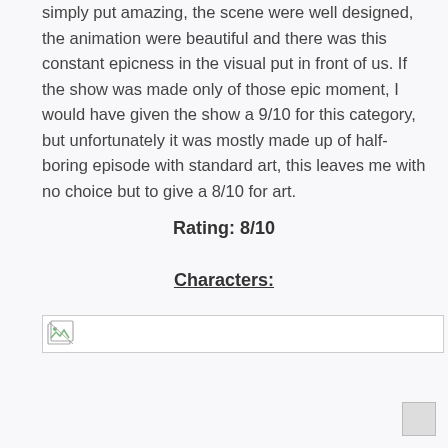simply put amazing, the scene were well designed, the animation were beautiful and there was this constant epicness in the visual put in front of us. If the show was made only of those epic moment, I would have given the show a 9/10 for this category, but unfortunately it was mostly made up of half-boring episode with standard art, this leaves me with no choice but to give a 8/10 for art.
Rating: 8/10
Characters:
[Figure (other): Broken/loading image placeholder with small image icon at far left, inside a bordered box]